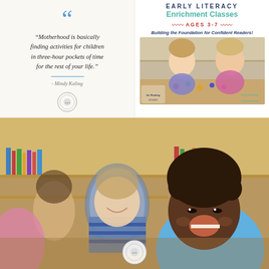[Figure (illustration): Quote panel with blue quotation marks on cream background. Text reads: 'Motherhood is basically finding activities for children in three-hour pockets of time for the rest of your life.' - Mindy Kaling, with a circular seal logo below.]
[Figure (infographic): Early Literacy Enrichment Classes advertisement for ages 3-7, with tagline 'Building the Foundation for Confident Readers!' and a photo of children learning at a table. The Reading Studio logo visible.]
[Figure (photo): Photograph of smiling children in a classroom setting, including a Black child in a blue shirt laughing in the foreground, and a white child in a striped shirt behind. Classroom shelves visible in background. A circular seal logo appears at bottom center.]